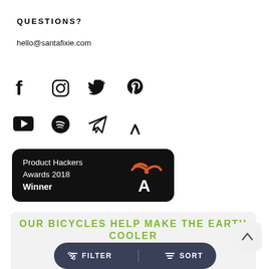QUESTIONS?
hello@santafixie.com
[Figure (other): Social media icons row 1: Facebook, Instagram, Twitter, Pinterest]
[Figure (other): Social media icons row 2: YouTube, Spotify, Telegram, Strava]
[Figure (other): Product Hackers Awards 2018 Winner badge with orange wifi/antenna logo on black rounded rectangle background]
OUR BICYCLES HELP MAKE THE EARTH COOLER
[Figure (other): Filter and Sort bar: dark rounded pill with FILTER and SORT buttons with icons]